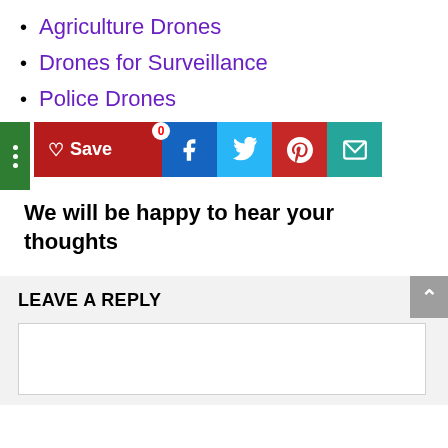Agriculture Drones
Drones for Surveillance
Police Drones
[Figure (infographic): Social share bar with save button, Facebook, Twitter, Pinterest, and email icons. A green sidebar with three dots is visible on the left.]
We will be happy to hear your thoughts
LEAVE A REPLY